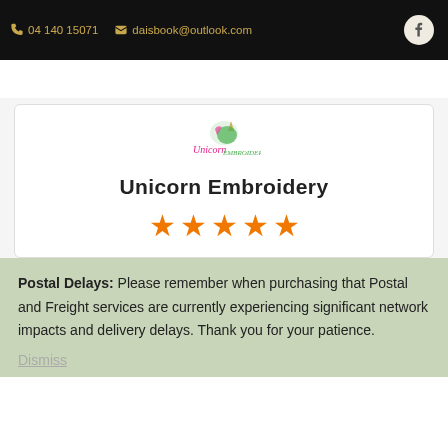04 140 15071   daisbook@outlook.com
[Figure (logo): Unicorn Embroidery logo with unicorn head and script text]
Unicorn Embroidery
[Figure (infographic): Five orange star rating]
Postal Delays: Please remember when purchasing that Postal and Freight services are currently experiencing significant network impacts and delivery delays. Thank you for your patience.
Dismiss